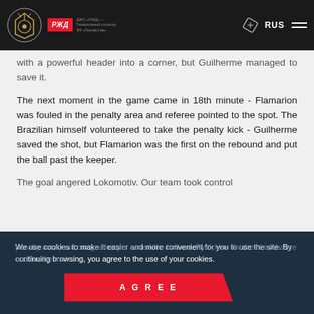Lokomotiv Moscow website navigation bar with logo, RZD sponsor badge, ticket icon, RUS language selector, and hamburger menu
with a powerful header into a corner, but Guilherme managed to save it.
The next moment in the game came in 18th minute - Flamarion was fouled in the penalty area and referee pointed to the spot. The Brazilian himself volunteered to take the penalty kick - Guilherme saved the shot, but Flamarion was the first on the rebound and put the ball past the keeper.
The goal angered Lokomotiv. Our team took control of the ball and started pushing to the penalty area, and our goalkeeper saved the ball out. Ryolchise finished his chance and for the main
We use cookies to make it easier and more convenient for you to use the site. By continuing browsing, you agree to the use of your cookies.
AGREE